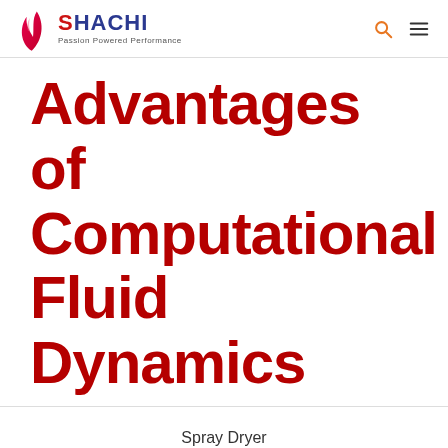SHACHI — Passion Powered Performance
Advantages of Computational Fluid Dynamics
Spray Dryer
February 17, 2020